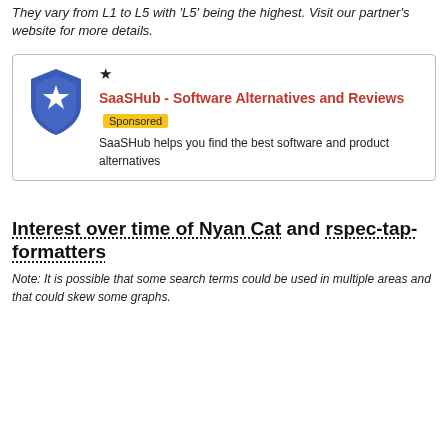They vary from L1 to L5 with 'L5' being the highest. Visit our partner's website for more details.
[Figure (other): SaaSHub advertisement box with blue shield star logo, title 'SaaSHub - Software Alternatives and Reviews' in red with a yellow 'Sponsored' badge, and description text 'SaaSHub helps you find the best software and product alternatives']
Interest over time of Nyan Cat and rspec-tap-formatters
Note: It is possible that some search terms could be used in multiple areas and that could skew some graphs.